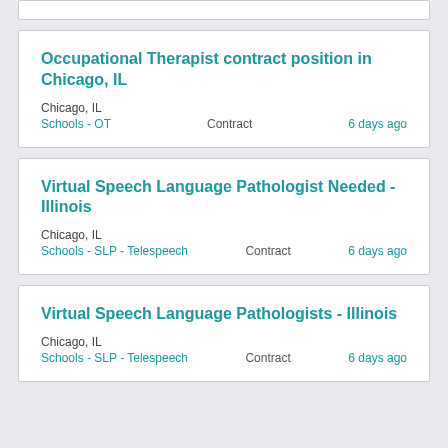Occupational Therapist contract position in Chicago, IL
Chicago, IL
Schools - OT    Contract    6 days ago
Virtual Speech Language Pathologist Needed - Illinois
Chicago, IL
Schools - SLP - Telespeech    Contract    6 days ago
Virtual Speech Language Pathologists - Illinois
Chicago, IL
Schools - SLP - Telespeech    Contract    6 days ago